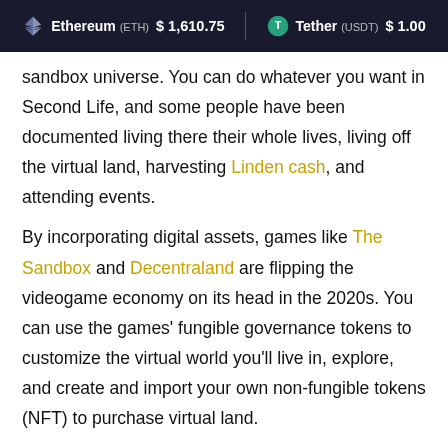Ethereum (ETH) $1,610.75   Tether (USDT) $1.00
sandbox universe. You can do whatever you want in Second Life, and some people have been documented living there their whole lives, living off the virtual land, harvesting Linden cash, and attending events.
By incorporating digital assets, games like The Sandbox and Decentraland are flipping the videogame economy on its head in the 2020s. You can use the games' fungible governance tokens to customize the virtual world you'll live in, explore, and create and import your own non-fungible tokens (NFT) to purchase virtual land.
Decentraland uses fungible MANA tokens and corresponding non-fungibles to represent parcels of land and other game-native goods, the kinds of assets that